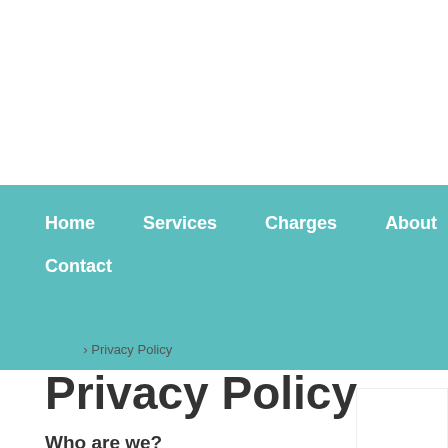Home   Services   Charges   About   Contact
Privacy Policy
Who are we?